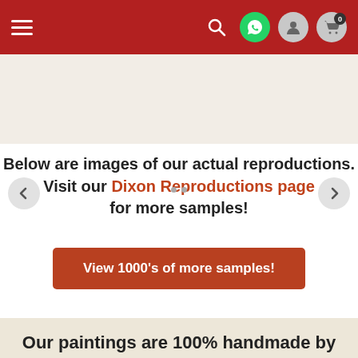Navigation bar with menu, search, WhatsApp, user, and cart icons
Below are images of our actual reproductions. Visit our Dixon Reproductions page for more samples!
[Figure (other): Carousel slider with left and right arrow navigation buttons and two dot indicators]
View 1000's of more samples!
Our paintings are 100% handmade by an experienced artist
Each painting is custom made and won't ship until it meets